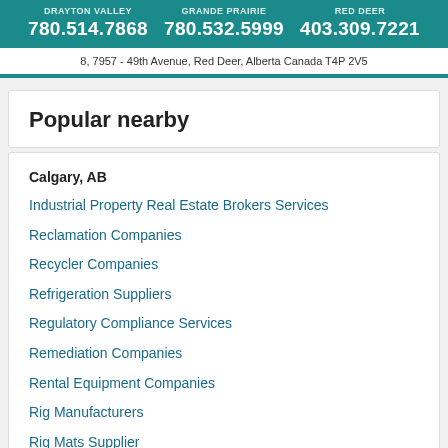[Figure (other): Teal banner with three location names (partially cropped) and phone numbers: 780.514.7868, 780.532.5999, 403.309.7221]
8, 7957 - 49th Avenue, Red Deer, Alberta Canada T4P 2V5
Popular nearby
Calgary, AB
Industrial Property Real Estate Brokers Services
Reclamation Companies
Recycler Companies
Refrigeration Suppliers
Regulatory Compliance Services
Remediation Companies
Rental Equipment Companies
Rig Manufacturers
Rig Mats Supplier
Risk Management Companies